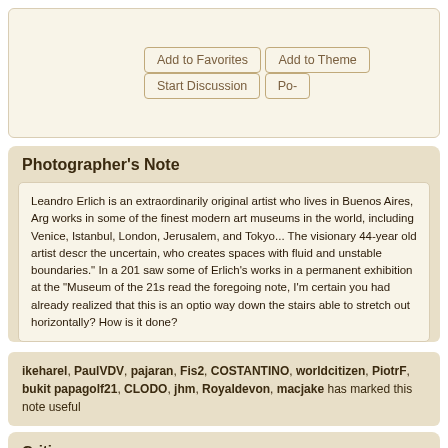Add to Favorites | Add to Theme | Start Discussion | Po-
Photographer's Note
Leandro Erlich is an extraordinarily original artist who lives in Buenos Aires, Arg works in some of the finest modern art museums in the world, including Venice, Istanbul, London, Jerusalem, and Tokyo... The visionary 44-year old artist descr the uncertain, who creates spaces with fluid and unstable boundaries." In a 201 saw some of Erlich's works in a permanent exhibition at the "Museum of the 21s read the foregoing note, I'm certain you had already realized that this is an optio way down the stairs able to stretch out horizontally? How is it done?
ikeharel, PaulVDV, pajaran, Fis2, COSTANTINO, worldcitizen, PiotrF, bukit papagolf21, CLODO, jhm, Royaldevon, macjake has marked this note useful
Critiques · Translate